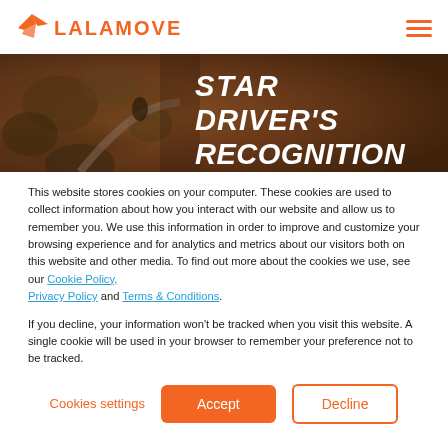LALAMOVE
[Figure (photo): Hero banner image with aerial/overhead view of trees and road, overlaid with large bold italic white text reading STAR DRIVER'S RECOGNITION]
STAR DRIVER'S RECOGNITION
This website stores cookies on your computer. These cookies are used to collect information about how you interact with our website and allow us to remember you. We use this information in order to improve and customize your browsing experience and for analytics and metrics about our visitors both on this website and other media. To find out more about the cookies we use, see our Cookie Policy, Privacy Policy and Terms & Conditions.
If you decline, your information won’t be tracked when you visit this website. A single cookie will be used in your browser to remember your preference not to be tracked.
Cookies settings | Accept | Decline